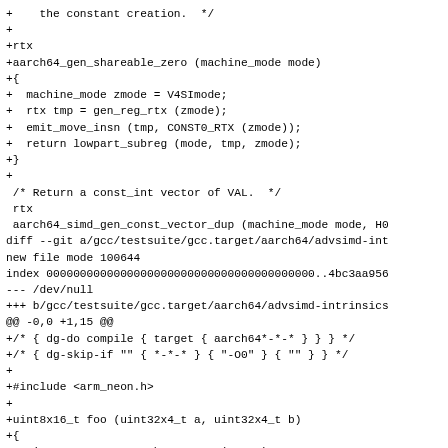+    the constant creation.  */
+
+rtx
+aarch64_gen_shareable_zero (machine_mode mode)
+{
+  machine_mode zmode = V4SImode;
+  rtx tmp = gen_reg_rtx (zmode);
+  emit_move_insn (tmp, CONST0_RTX (zmode));
+  return lowpart_subreg (mode, tmp, zmode);
+}
+
 /* Return a const_int vector of VAL.  */
 rtx
 aarch64_simd_gen_const_vector_dup (machine_mode mode, H0
diff --git a/gcc/testsuite/gcc.target/aarch64/advsimd-int
new file mode 100644
index 0000000000000000000000000000000000000000..4bc3aa956
--- /dev/null
+++ b/gcc/testsuite/gcc.target/aarch64/advsimd-intrinsics
@@ -0,0 +1,15 @@
+/* { dg-do compile { target { aarch64*-*-* } } } */
+/* { dg-skip-if "" { *-*-* } { "-O0" } { "" } } */
+
+#include <arm_neon.h>
+
+uint8x16_t foo (uint32x4_t a, uint32x4_t b)
+{
+  uint16x4_t a1 = vrshrn_n_u32 (a, 16);
+  uint16x8_t b1 = vrshrn_high_n_u32 (a1, b, 16);
+  return vrshrn_high_n_u16 (vrshrn_n_u16 (b1, 8), b1,